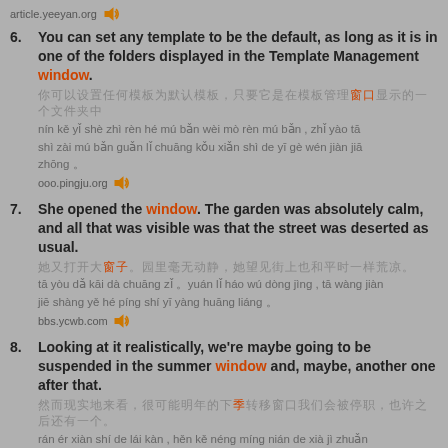article.yeeyan.org 🔊
6. You can set any template to be the default, as long as it is in one of the folders displayed in the Template Management window.
你可以设置任何模板为默认模板，只要它是在模板管理窗口显示的一个文件夹中 (Chinese characters)
nín kě yǐ shè zhì rèn hé mú bǎn wèi mò rèn mú bǎn , zhǐ yào tā shì zài mú bǎn guǎn lǐ chuāng kǒu xiǎn shì de yī gè wén jiàn jiā zhōng 。
ooo.pingju.org 🔊
7. She opened the window. The garden was absolutely calm, and all that was visible was that the street was deserted as usual.
她又打开大窗子。园里毫无动静，她望见街上也和平时一样荒凉。(Chinese characters)
tā yòu dǎ kāi dà chuāng zǐ 。yuán lǐ háo wú dòng jìng , tā wàng jiàn jiē shàng yě hé píng shí yī yàng huāng liáng 。
bbs.ycwb.com 🔊
8. Looking at it realistically, we're maybe going to be suspended in the summer window and, maybe, another one after that.
然而现实地来看，很可能明年的下季转... (Chinese characters)
rán ér xiàn shí de lái kàn , hěn kě néng míng nián de xià jì zhuǎn